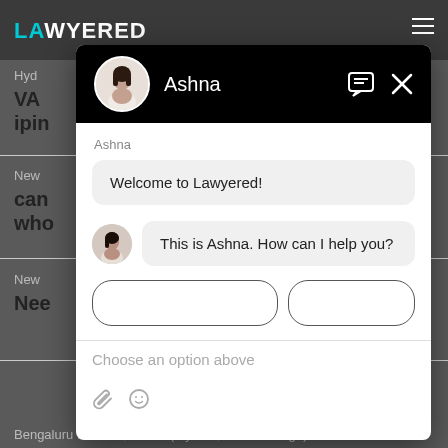[Figure (screenshot): Lawyered website chat widget showing a conversation with Ashna. The chat popup has a black header with Ashna's avatar and name, followed by two messages: 'Welcome to Lawyered!' and 'This is Ashna. How can I help you?', with option buttons and a text input area at the bottom.]
Bengaluru . 10 Jan, 2018 . (4 years, 7 months ago)